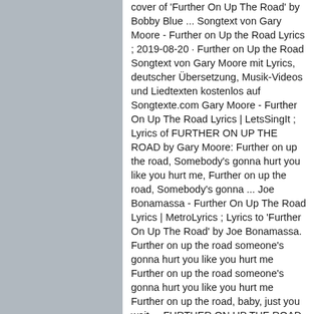[Figure (other): Gray rectangular panel on the left side of the page]
cover of 'Further On Up The Road' by Bobby Blue ... Songtext von Gary Moore - Further on Up the Road Lyrics ; 2019-08-20 · Further on Up the Road Songtext von Gary Moore mit Lyrics, deutscher Übersetzung, Musik-Videos und Liedtexten kostenlos auf Songtexte.com Gary Moore - Further On Up The Road Lyrics | LetsSingIt ; Lyrics of FURTHER ON UP THE ROAD by Gary Moore: Further on up the road, Somebody's gonna hurt you like you hurt me, Further on up the road, Somebody's gonna ... Joe Bonamassa - Further On Up The Road Lyrics | MetroLyrics ; Lyrics to 'Further On Up The Road' by Joe Bonamassa. Further on up the road someone's gonna hurt you like you hurt me Further on up the road someone's gonna hurt you like you hurt me Further on up the road, baby, just you wait ... FURTHER ON UP THE ROAD Chords - Gary Moore | E-Chords ; Further On Up the Road Chords by Gary Moore Learn to play guitar by chord and tabs and use our crd diagrams, transpose the key and more. Top Tracks - Gary Moore - YouTube ; Gary Moore Greatest Hits-Walking by Myself HD Lyrics...